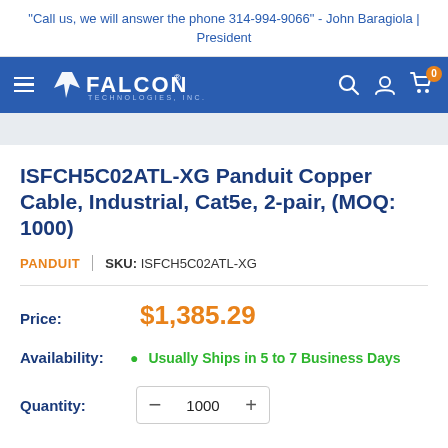"Call us, we will answer the phone 314-994-9066" - John Baragiola | President
[Figure (logo): Falcon Technologies Inc. navigation bar with hamburger menu, logo, search icon, account icon, and cart icon with badge showing 0]
ISFCH5C02ATL-XG Panduit Copper Cable, Industrial, Cat5e, 2-pair, (MOQ: 1000)
PANDUIT | SKU: ISFCH5C02ATL-XG
Price: $1,385.29
Availability: Usually Ships in 5 to 7 Business Days
Quantity: 1000